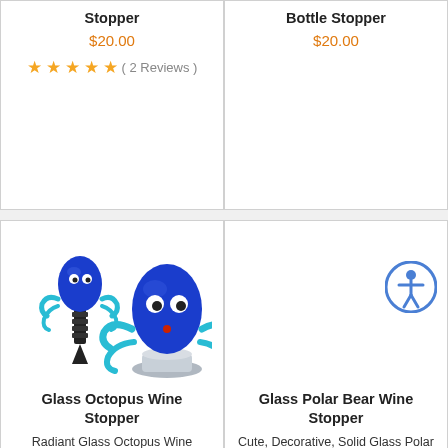Stopper
$20.00
★★★★★ ( 2 Reviews )
Bottle Stopper
$20.00
[Figure (photo): Two blue glass octopus wine stoppers with silver metal bases]
Glass Octopus Wine Stopper
Radiant Glass Octopus Wine Stopper with Elegant Design
[Figure (illustration): Accessibility icon (person in circle) on right side of polar bear product card]
Glass Polar Bear Wine Stopper
Cute, Decorative, Solid Glass Polar Bear Wine Bottle Stopper